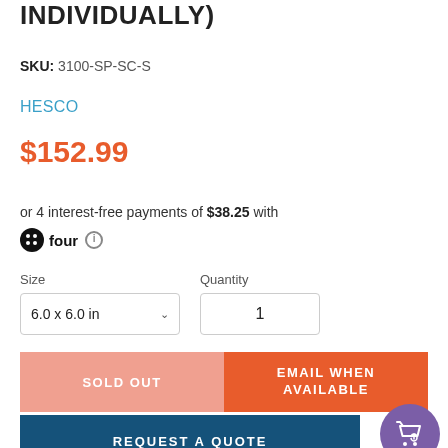INDIVIDUALLY)
SKU: 3100-SP-SC-S
HESCO
$152.99
or 4 interest-free payments of $38.25 with four ℹ
Size   Quantity   6.0 x 6.0 in   1
SOLD OUT   EMAIL WHEN AVAILABLE
REQUEST A QUOTE
SHARE   TWEET   PIN IT